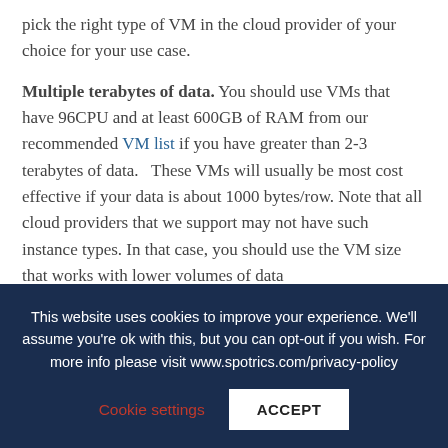pick the right type of VM in the cloud provider of your choice for your use case.
Multiple terabytes of data. You should use VMs that have 96CPU and at least 600GB of RAM from our recommended VM list if you have greater than 2-3 terabytes of data.   These VMs will usually be most cost effective if your data is about 1000 bytes/row. Note that all cloud providers that we support may not have such instance types. In that case, you should use the VM size that works with lower volumes of data
This website uses cookies to improve your experience. We'll assume you're ok with this, but you can opt-out if you wish. For more info please visit www.spotrics.com/privacy-policy
Cookie settings
ACCEPT